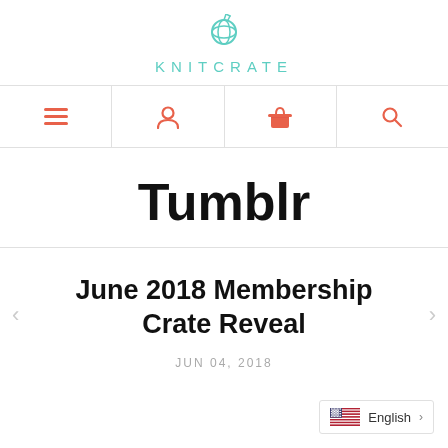KNITCRATE
[Figure (screenshot): Navigation bar with menu, user, shopping bag, and search icons in coral/red color]
Tumblr
June 2018 Membership Crate Reveal
JUN 04, 2018